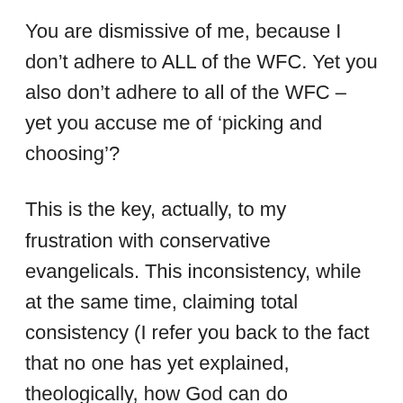You are dismissive of me, because I don't adhere to ALL of the WFC. Yet you also don't adhere to all of the WFC – yet you accuse me of 'picking and choosing'?
This is the key, actually, to my frustration with conservative evangelicals. This inconsistency, while at the same time, claiming total consistency (I refer you back to the fact that no one has yet explained, theologically, how God can do something [give David muliple wives] that God unequivocally and consistently [in your world view] condemns as sinful).
Additionally, I find it fascinating (and again frustrating) this continued return to 'tradition' and